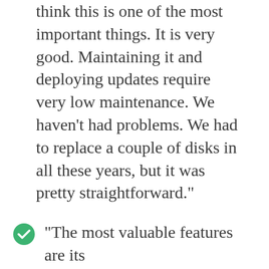think this is one of the most important things. It is very good. Maintaining it and deploying updates require very low maintenance. We haven't had problems. We had to replace a couple of disks in all these years, but it was pretty straightforward."
"The most valuable features are its